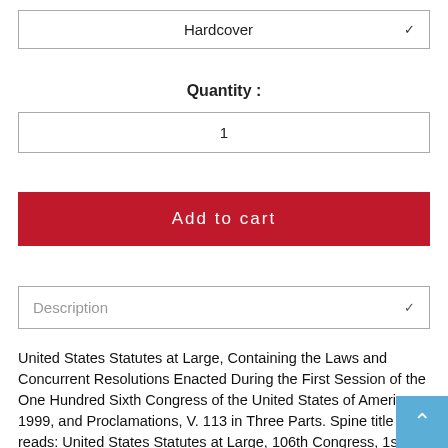Hardcover
Quantity :
1
Add to cart
Description
United States Statutes at Large, Containing the Laws and Concurrent Resolutions Enacted During the First Session of the One Hundred Sixth Congress of the United States of America, 1999, and Proclamations, V. 113 in Three Parts. Spine title reads: United States Statutes at Large, 106th Congress, 1st Session, 1999, V. 113, Pt. 1-3, Public Laws. Includes Public Laws 106-1 through